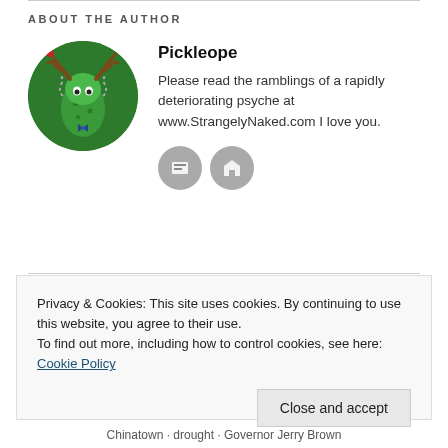ABOUT THE AUTHOR
[Figure (illustration): Circular avatar image of Pickleope, a cartoon green pickle character wearing antlers and a bow tie, on a dark green background]
Pickleope
Please read the ramblings of a rapidly deteriorating psyche at www.StrangelyNaked.com I love you.
Privacy & Cookies: This site uses cookies. By continuing to use this website, you agree to their use.
To find out more, including how to control cookies, see here: Cookie Policy
Close and accept
Chinatown · drought · Governor Jerry Brown